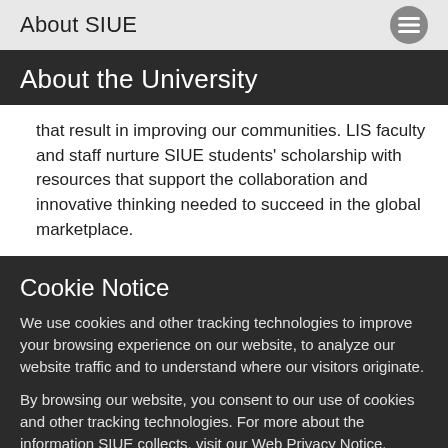About SIUE
About the University
that result in improving our communities. LIS faculty and staff nurture SIUE students' scholarship with resources that support the collaboration and innovative thinking needed to succeed in the global marketplace.
Cookie Notice
We use cookies and other tracking technologies to improve your browsing experience on our website, to analyze our website traffic and to understand where our visitors originate.
By browsing our website, you consent to our use of cookies and other tracking technologies. For more about the information SIUE collects, visit our Web Privacy Notice.